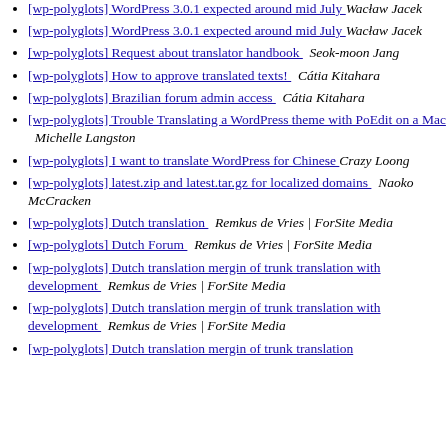[wp-polyglots] WordPress 3.0.1 expected around mid July  Wacław Jacek
[wp-polyglots] WordPress 3.0.1 expected around mid July  Wacław Jacek
[wp-polyglots] Request about translator handbook   Seok-moon Jang
[wp-polyglots] How to approve translated texts!   Cátia Kitahara
[wp-polyglots] Brazilian forum admin access   Cátia Kitahara
[wp-polyglots] Trouble Translating a WordPress theme with PoEdit on a Mac   Michelle Langston
[wp-polyglots] I want to translate WordPress for Chinese   Crazy Loong
[wp-polyglots] latest.zip and latest.tar.gz for localized domains   Naoko McCracken
[wp-polyglots] Dutch translation   Remkus de Vries | ForSite Media
[wp-polyglots] Dutch Forum   Remkus de Vries | ForSite Media
[wp-polyglots] Dutch translation mergin of trunk translation with development   Remkus de Vries | ForSite Media
[wp-polyglots] Dutch translation mergin of trunk translation with development   Remkus de Vries | ForSite Media
[wp-polyglots] Dutch translation mergin of trunk translation